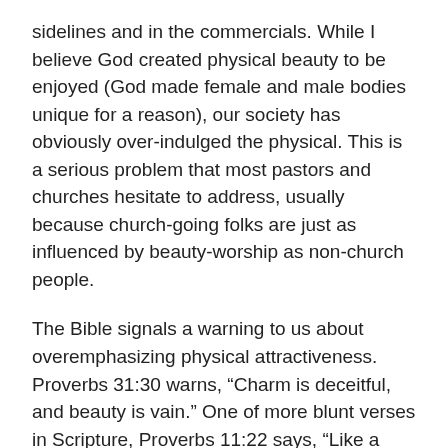sidelines and in the commercials. While I believe God created physical beauty to be enjoyed (God made female and male bodies unique for a reason), our society has obviously over-indulged the physical. This is a serious problem that most pastors and churches hesitate to address, usually because church-going folks are just as influenced by beauty-worship as non-church people.
The Bible signals a warning to us about overemphasizing physical attractiveness. Proverbs 31:30 warns, “Charm is deceitful, and beauty is vain.” One of more blunt verses in Scripture, Proverbs 11:22 says, “Like a gold ring in a pig’s snout is a beautiful woman without discretion.” These warnings tell us that this is not just an issue for American women of the 21st century. There is something universal in this struggle that isn’t going away in our time.